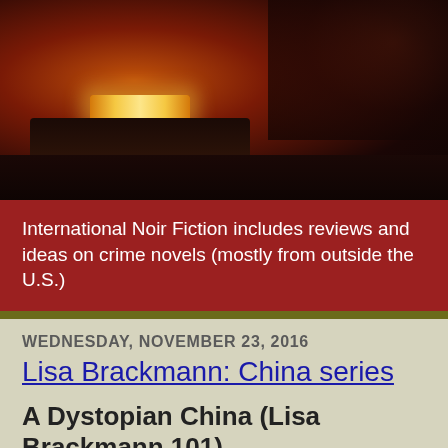[Figure (photo): Dark nighttime photo of a taxi cab with an illuminated yellow roof light, dark reddish-brown background suggesting a street scene at night.]
International Noir Fiction includes reviews and ideas on crime novels (mostly from outside the U.S.)
WEDNESDAY, NOVEMBER 23, 2016
Lisa Brackmann: China series
A Dystopian China (Lisa Brackmann 101)
[The review below was published on the late lamented site The Life Sentence, and since the post is no longer available on-line at the original site, I'm posting it here.]